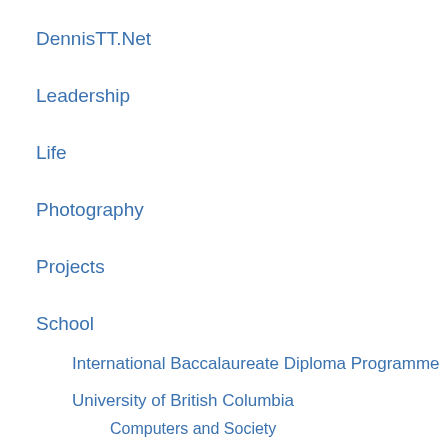DennisTT.Net
Leadership
Life
Photography
Projects
School
International Baccalaureate Diploma Programme
University of British Columbia
Computers and Society